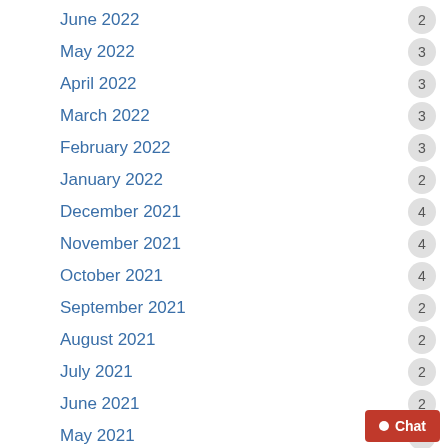June 2022
May 2022
April 2022
March 2022
February 2022
January 2022
December 2021
November 2021
October 2021
September 2021
August 2021
July 2021
June 2021
May 2021
April 2021
March 2021
February 2021
December 2020
November 2020
October 2020